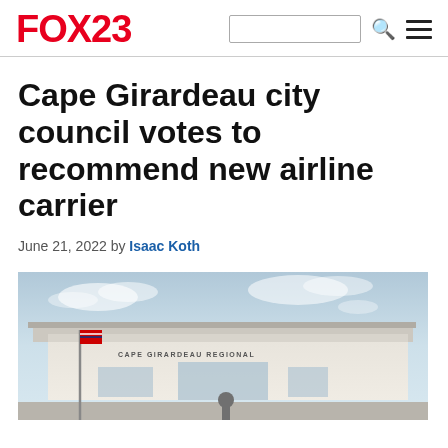FOX23
Cape Girardeau city council votes to recommend new airline carrier
June 21, 2022 by Isaac Koth
[Figure (photo): Exterior view of Cape Girardeau Regional Airport building with flagpole, overhang canopy, and partly cloudy sky]